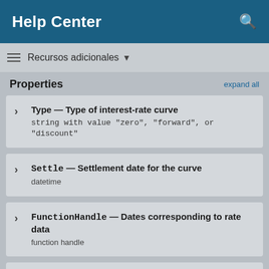Help Center
Recursos adicionales
Properties   expand all
Type — Type of interest-rate curve
string with value "zero", "forward", or "discount"
Settle — Settlement date for the curve
datetime
FunctionHandle — Dates corresponding to rate data
function handle
Compounding — Compounding frequency per-year for curve
-1 (default) | possible values include: -1, 0, 1, 2, 3,